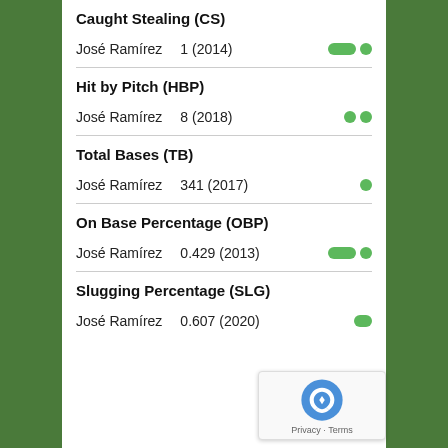Caught Stealing (CS)
José Ramírez    1 (2014)
Hit by Pitch (HBP)
José Ramírez    8 (2018)
Total Bases (TB)
José Ramírez    341 (2017)
On Base Percentage (OBP)
José Ramírez    0.429 (2013)
Slugging Percentage (SLG)
José Ramírez    0.607 (2020)